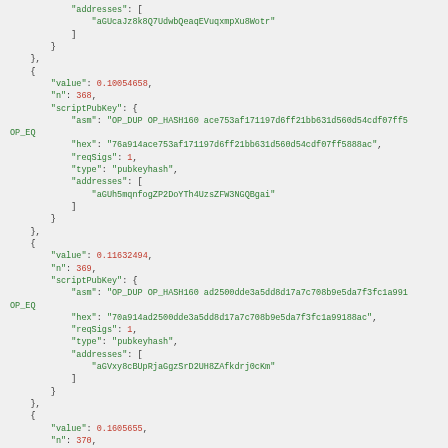JSON code block showing blockchain transaction output entries with fields: addresses, value, n, scriptPubKey (asm, hex, reqSigs, type, addresses) for entries n=368, n=369, n=370